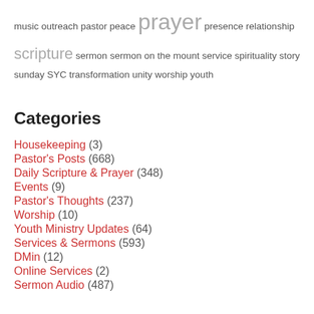music outreach pastor peace prayer presence relationship scripture sermon sermon on the mount service spirituality story sunday SYC transformation unity worship youth
Categories
Housekeeping (3)
Pastor's Posts (668)
Daily Scripture & Prayer (348)
Events (9)
Pastor's Thoughts (237)
Worship (10)
Youth Ministry Updates (64)
Services & Sermons (593)
DMin (12)
Online Services (2)
Sermon Audio (487)